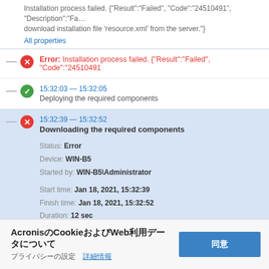Installation process failed. {"Result":"Failed", "Code":"24510491", "Description":"Fa… download installation file 'resource.xml' from the server."}
All properties
Error: Installation process failed. {"Result":"Failed", "Code":"24510491
15:32:03 — 15:32:05
Deploying the required components
15:32:39 — 15:32:52
Downloading the required components
Status: Error
Device: WIN-B5
Started by: WIN-B5\Administrator
Start time: Jan 18, 2021, 15:32:39
Finish time: Jan 18, 2021, 15:32:52
Duration: 12 sec
All properties
Error: Installation process failed. {"Result":"Failed", "Code":"24510491
AcronisのCookieおよびWeb利用データについて
プライバシーの設定　詳細情報